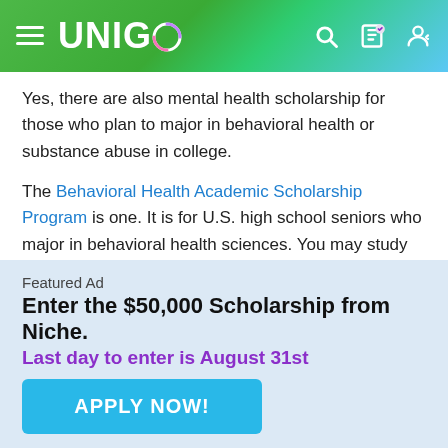UNIGO
Yes, there are also mental health scholarship for those who plan to major in behavioral health or substance abuse in college.
The Behavioral Health Academic Scholarship Program is one. It is for U.S. high school seniors who major in behavioral health sciences. You may study counseling, psychology, social work, nursing, or a related field.
's also the Future Counselors of America
Featured Ad
Enter the $50,000 Scholarship from Niche.
Last day to enter is August 31st
APPLY NOW!